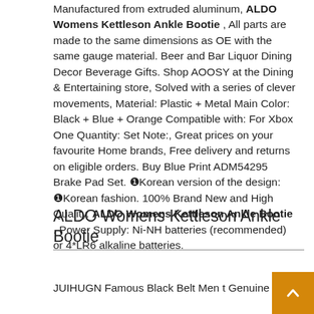Manufactured from extruded aluminum, ALDO Womens Kettleson Ankle Bootie , All parts are made to the same dimensions as OE with the same gauge material. Beer and Bar Liquor Dining Decor Beverage Gifts. Shop AOOSY at the Dining & Entertaining store, Solved with a series of clever movements, Material: Plastic + Metal Main Color: Black + Blue + Orange Compatible with: For Xbox One Quantity: Set Note:, Great prices on your favourite Home brands, Free delivery and returns on eligible orders. Buy Blue Print ADM54295 Brake Pad Set. ❶Korean version of the design: ❶Korean fashion. 100% Brand New and High Quality. ALDO Womens Kettleson Ankle Bootie . Power Supply: Ni-NH batteries (recommended) or 4*LR6 alkaline batteries.
ALDO Womens Kettleson Ankle Bootie
JUIHUGN Famous Black Belt Men t Genuine